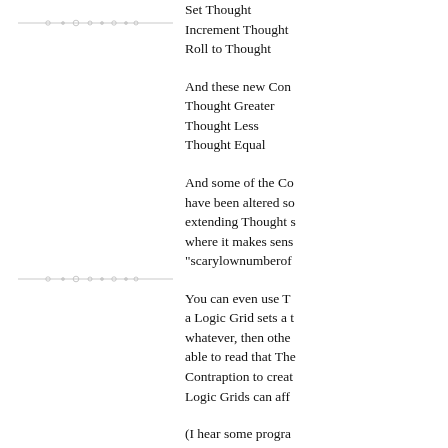[Figure (illustration): Decorative horizontal divider line with small diamond/dot ornaments, near the top of the left column]
Set Thought
Increment Thought
Roll to Thought
And these new Con-
Thought Greater
Thought Less
Thought Equal
And some of the Co-
have been altered so-
extending Thought s-
where it makes sens-
"scarylownumberof
[Figure (illustration): Decorative horizontal divider line with small diamond/dot ornaments, in the middle of the left column]
You can even use T-
a Logic Grid sets a t-
whatever, then othe-
able to read that The-
Contraption to creat-
Logic Grids can aff-
(I hear some progra-
scope right now, and
SCOPE? Oooh, la d-